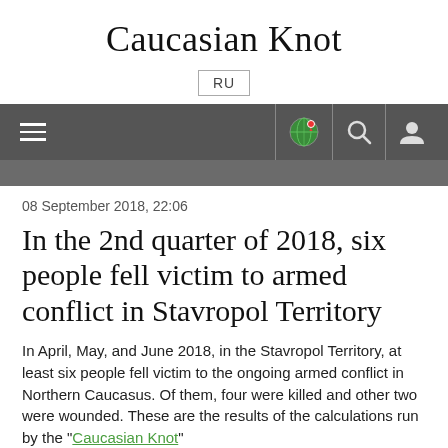Caucasian Knot
RU
Navigation bar with hamburger menu, globe/map icon, search icon, user icon
08 September 2018, 22:06
In the 2nd quarter of 2018, six people fell victim to armed conflict in Stavropol Territory
In April, May, and June 2018, in the Stavropol Territory, at least six people fell victim to the ongoing armed conflict in Northern Caucasus. Of them, four were killed and other two were wounded. These are the results of the calculations run by the "Caucasian Knot"